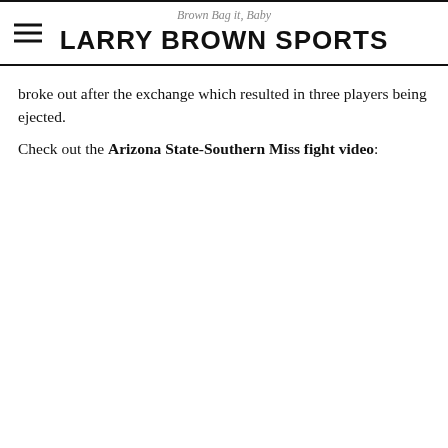Brown Bag it, Baby — LARRY BROWN SPORTS
broke out after the exchange which resulted in three players being ejected.
Check out the Arizona State-Southern Miss fight video: